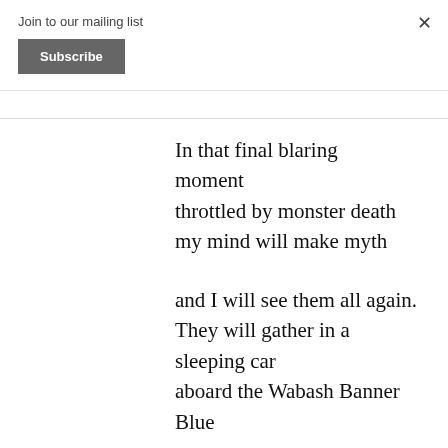Join to our mailing list
Subscribe
×
In that final blaring moment
throttled by monster death
my mind will make myth

and I will see them all again.
They will gather in a
sleeping car
aboard the Wabash Banner
Blue